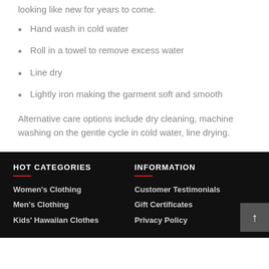looking like new for years to come.
Hand wash in cold water
Roll in a towel to remove excess water
Line dry
Lightly iron making the garment soft and smooth
Alternative care options include dry cleaning, machine washing on the gentle cycle in cold water, line drying.
HOT CATEGORIES
INFORMATION
Women's Clothing
Men's Clothing
Kids' Hawaiian Clothes
Customer Testimonials
Gift Certificates
Privacy Policy